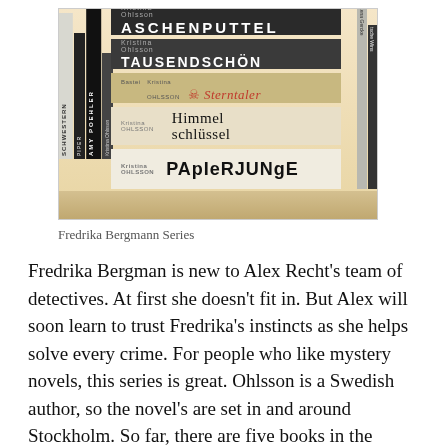[Figure (photo): A photograph of several books stacked on a bookshelf. Visible titles include Aschenputtel, Tausendschön, Sterntaler, Himmelschlüssel, and Papierjunge, all by Kristina Ohlsson.]
Fredrika Bergmann Series
Fredrika Bergman is new to Alex Recht's team of detectives. At first she doesn't fit in. But Alex will soon learn to trust Fredrika's instincts as she helps solve every crime. For people who like mystery novels, this series is great. Ohlsson is a Swedish author, so the novel's are set in and around Stockholm. So far, there are five books in the series Unwanted, Silenced, The Disappeared